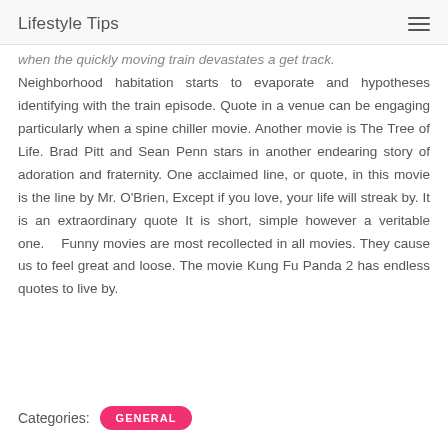Lifestyle Tips
when the quickly moving train devastates a get track. Neighborhood habitation starts to evaporate and hypotheses identifying with the train episode. Quote in a venue can be engaging particularly when a spine chiller movie. Another movie is The Tree of Life. Brad Pitt and Sean Penn stars in another endearing story of adoration and fraternity. One acclaimed line, or quote, in this movie is the line by Mr. O'Brien, Except if you love, your life will streak by. It is an extraordinary quote It is short, simple however a veritable one.    Funny movies are most recollected in all movies. They cause us to feel great and loose. The movie Kung Fu Panda 2 has endless quotes to live by.
Categories: GENERAL